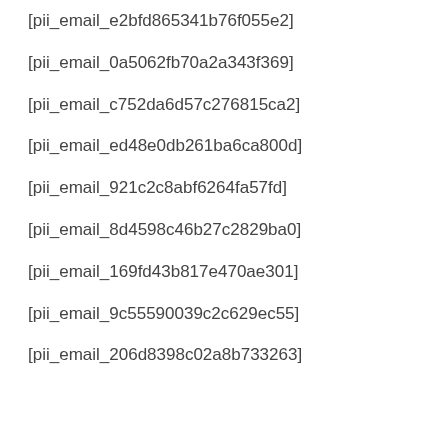[pii_email_e2bfd865341b76f055e2]
[pii_email_0a5062fb70a2a343f369]
[pii_email_c752da6d57c276815ca2]
[pii_email_ed48e0db261ba6ca800d]
[pii_email_921c2c8abf6264fa57fd]
[pii_email_8d4598c46b27c2829ba0]
[pii_email_169fd43b817e470ae301]
[pii_email_9c55590039c2c629ec55]
[pii_email_206d8398c02a8b733263]